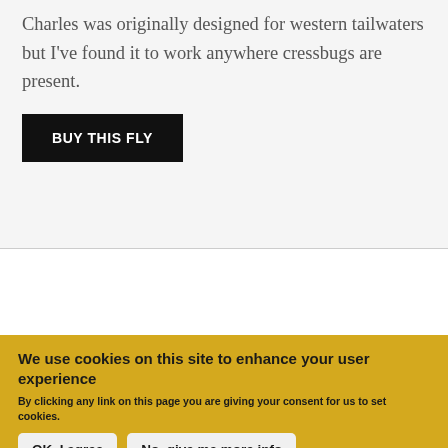Charles was originally designed for western tailwaters but I've found it to work anywhere cressbugs are present.
BUY THIS FLY
We use cookies on this site to enhance your user experience
By clicking any link on this page you are giving your consent for us to set cookies.
OK, I agree
No, give me more info